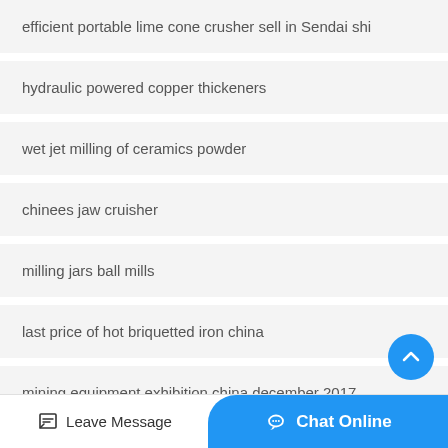efficient portable lime cone crusher sell in Sendai shi
hydraulic powered copper thickeners
wet jet milling of ceramics powder
chinees jaw cruisher
milling jars ball mills
last price of hot briquetted iron china
mining equipment exhibition china december 2017
Leave Message   Chat Online